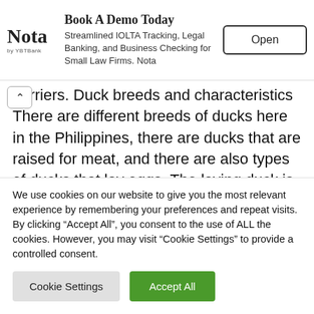[Figure (other): Ad banner: Nota logo with 'Book A Demo Today' title, text 'Streamlined IOLTA Tracking, Legal Banking, and Business Checking for Small Law Firms. Nota', and an Open button]
barriers. Duck breeds and characteristics There are different breeds of ducks here in the Philippines, there are ducks that are raised for meat, and there are also types of ducks that lay eggs. The laying duck is better known here in the Philippines, they are smaller than other species, but they lay bigger eggs. These eggs are popular due to balut which is laid by Mallard Duck or Pateros Duck. Their main
We use cookies on our website to give you the most relevant experience by remembering your preferences and repeat visits. By clicking "Accept All", you consent to the use of ALL the cookies. However, you may visit "Cookie Settings" to provide a controlled consent.